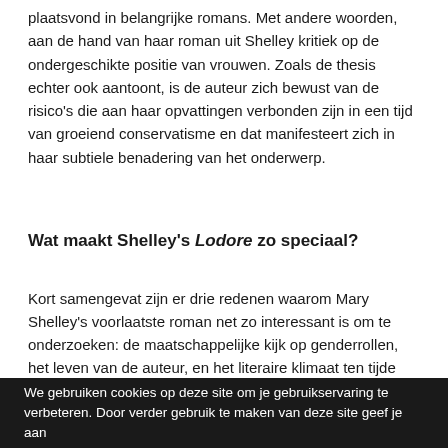plaatsvond in belangrijke romans. Met andere woorden, aan de hand van haar roman uit Shelley kritiek op de ondergeschikte positie van vrouwen. Zoals de thesis echter ook aantoont, is de auteur zich bewust van de risico's die aan haar opvattingen verbonden zijn in een tijd van groeiend conservatisme en dat manifesteert zich in haar subtiele benadering van het onderwerp.
Wat maakt Shelley's Lodore zo speciaal?
Kort samengevat zijn er drie redenen waarom Mary Shelley's voorlaatste roman net zo interessant is om te onderzoeken: de maatschappelijke kijk op genderrollen, het leven van de auteur, en het literaire klimaat ten tijde van publicatie. Door middel van een literatuurstudie zet ik in vier hoofdstukken uiteen wat die drie aspecten net inhouden en wat dit uiteindelijk wil zeggen met betrekking tot Shelley's kijk op genderrollen en relaties
We gebruiken cookies op deze site om je gebruikservaring te verbeteren. Door verder gebruik te maken van deze site geef je aan